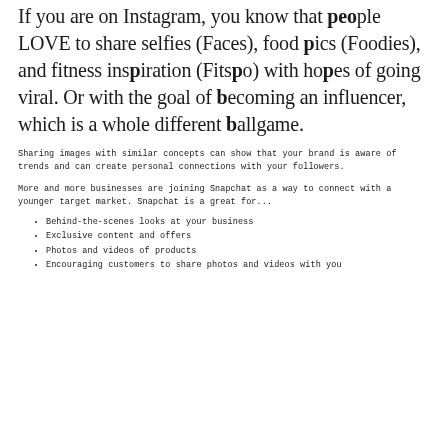Instagram, both of which use images to communicate.
If you are on Instagram, you know that people LOVE to share selfies (Faces), food pics (Foodies), and fitness inspiration (Fitspo) with hopes of going viral. Or with the goal of becoming an influencer, which is a whole different ballgame.
Sharing images with similar concepts can show that your brand is aware of trends and can create personal connections with your followers.
More and more businesses are joining Snapchat as a way to connect with a younger target market. Snapchat is a great for...
Behind-the-scenes looks at your business
Exclusive content and offers
Photos and videos of products
Encouraging customers to share photos and videos with you